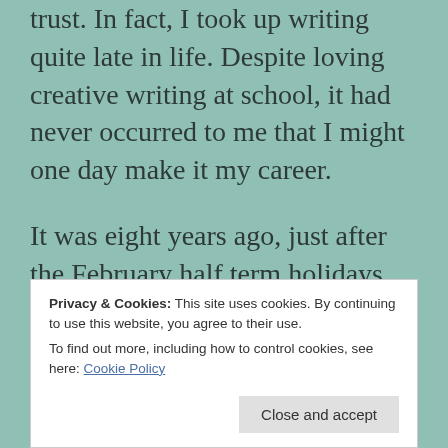trust. In fact, I took up writing quite late in life. Despite loving creative writing at school, it had never occurred to me that I might one day make it my career.
It was eight years ago, just after the February half term holidays, when my life changed. I remember it as though it was yesterday. I had just been told that the small primary school, where I taught English, was closing and all the staff were being made redundant. Rather than teach, I remained at home contemplating an
Privacy & Cookies: This site uses cookies. By continuing to use this website, you agree to their use.
To find out more, including how to control cookies, see here: Cookie Policy
Close and accept